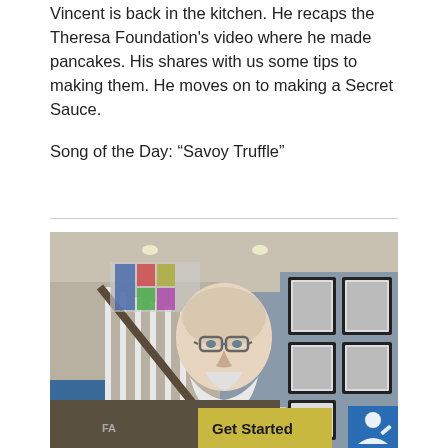Vincent is back in the kitchen. He recaps the Theresa Foundation's video where he made pancakes. His shares with us some tips to making them. He moves on to making a Secret Sauce.
Song of the Day: “Savoy Truffle”
[Figure (photo): A bald older man with glasses and a white beard, wearing a light-colored button-up shirt, standing in front of a staircase and a wall of framed black-and-white photos. A 'Get Started' button overlay with a yellow background and a blue icon button appear at the bottom right of the image.]